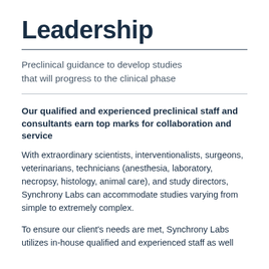Leadership
Preclinical guidance to develop studies that will progress to the clinical phase
Our qualified and experienced preclinical staff and consultants earn top marks for collaboration and service
With extraordinary scientists, interventionalists, surgeons, veterinarians, technicians (anesthesia, laboratory, necropsy, histology, animal care), and study directors, Synchrony Labs can accommodate studies varying from simple to extremely complex.
To ensure our client's needs are met, Synchrony Labs utilizes in-house qualified and experienced staff as well